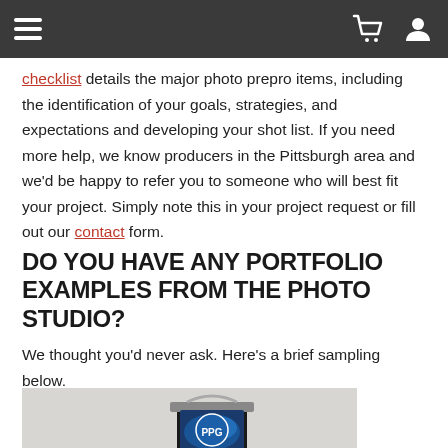[Navigation bar with hamburger menu, cart icon, and user icon]
checklist details the major photo prepro items, including the identification of your goals, strategies, and expectations and developing your shot list. If you need more help, we know producers in the Pittsburgh area and we'd be happy to refer you to someone who will best fit your project. Simply note this in your project request or fill out our contact form.
DO YOU HAVE ANY PORTFOLIO EXAMPLES FROM THE PHOTO STUDIO?
We thought you'd never ask. Here's a brief sampling below.
[Figure (photo): Photo of a PPG Permanizer paint can with painting supplies on a light background]